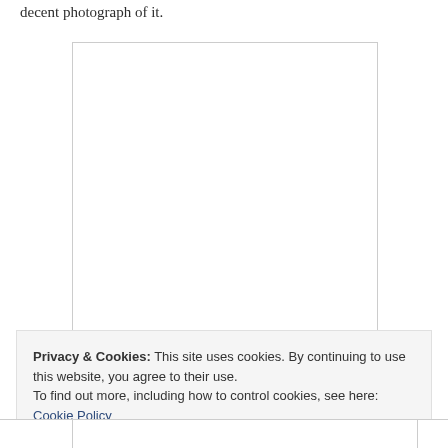decent photograph of it.
[Figure (photo): White/blank image placeholder with light grey border]
Privacy & Cookies: This site uses cookies. By continuing to use this website, you agree to their use.
To find out more, including how to control cookies, see here: Cookie Policy
Close and accept